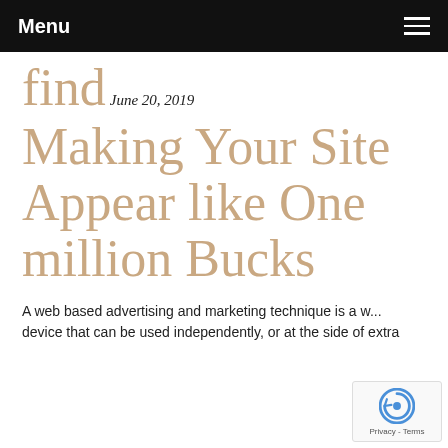Menu
find
June 20, 2019
Making Your Site Appear like One million Bucks
A web based advertising and marketing technique is a w... device that can be used independently, or at the side of extra